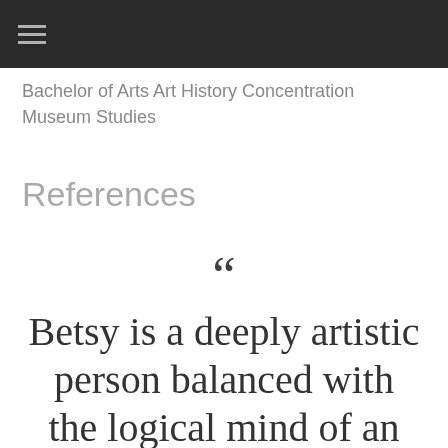Bachelor of Arts Art History Concentration Museum Studies
References
“ Betsy is a deeply artistic person balanced with the logical mind of an